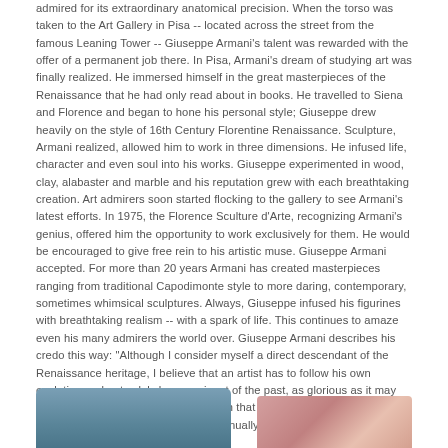admired for its extraordinary anatomical precision. When the torso was taken to the Art Gallery in Pisa -- located across the street from the famous Leaning Tower -- Giuseppe Armani's talent was rewarded with the offer of a permanent job there. In Pisa, Armani's dream of studying art was finally realized. He immersed himself in the great masterpieces of the Renaissance that he had only read about in books. He travelled to Siena and Florence and began to hone his personal style; Giuseppe drew heavily on the style of 16th Century Florentine Renaissance. Sculpture, Armani realized, allowed him to work in three dimensions. He infused life, character and even soul into his works. Giuseppe experimented in wood, clay, alabaster and marble and his reputation grew with each breathtaking creation. Art admirers soon started flocking to the gallery to see Armani's latest efforts. In 1975, the Florence Sculture d'Arte, recognizing Armani's genius, offered him the opportunity to work exclusively for them. He would be encouraged to give free rein to his artistic muse. Giuseppe Armani accepted. For more than 20 years Armani has created masterpieces ranging from traditional Capodimonte style to more daring, contemporary, sometimes whimsical sculptures. Always, Giuseppe infused his figurines with breathtaking realism -- with a spark of life. This continues to amaze even his many admirers the world over. Giuseppe Armani describes his credo this way: "Although I consider myself a direct descendant of the Renaissance heritage, I believe that an artist has to follow his own evolution and not solely be a ruminant of the past, as glorious as it may have been. An artist conducts a search that may lead him far out in exploring new areas of interest. I continually search to discover new and better means of expression.
[Figure (photo): Partial photo visible at bottom left, blue/grey toned image, partially cut off]
[Figure (photo): Partial photo visible at bottom right, showing what appears to be a colorful figurine or sculpture]